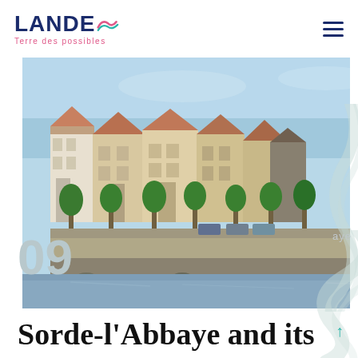LANDES Terre des possibles
[Figure (photo): Riverside scene showing French town buildings with terracotta roofs, rows of trimmed trees along the embankment, parked cars, and a calm river in the foreground under a clear blue sky. Location: Sorde-l'Abbaye, Landes, France.]
09
Sorde-l'Abbaye and its